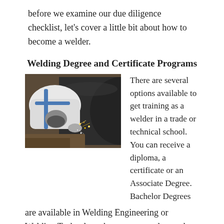before we examine our due diligence checklist, let's cover a little bit about how to become a welder.
Welding Degree and Certificate Programs
[Figure (photo): A welder in protective white suit and gloves working on welding a large pipe, with sparks visible, photographed from above at close range.]
There are several options available to get training as a welder in a trade or technical school. You can receive a diploma, a certificate or an Associate Degree. Bachelor Degrees are available in Welding Engineering or Welding Technology, but are more advanced degrees than most journeyman welders will need. Some programs are also offered along with an apprenticeship programs. Following are short explanations